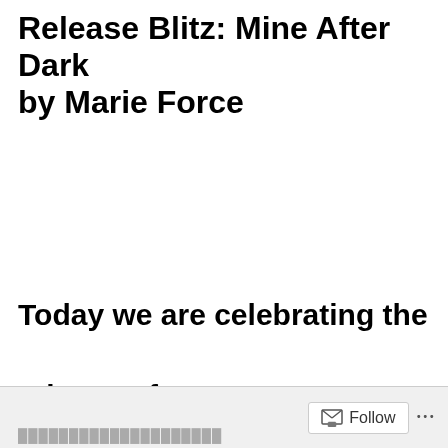Release Blitz: Mine After Dark by Marie Force
Today we are celebrating the release of MINE AFTER DARK, the
Follow ...